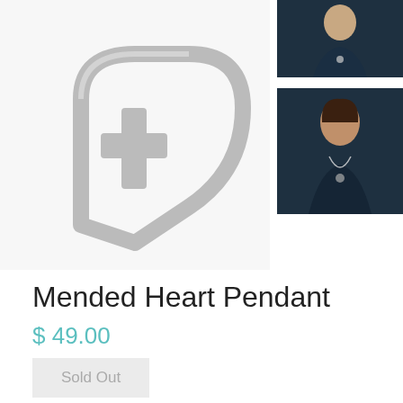[Figure (photo): Silver mended heart pendant jewelry closeup on white background]
[Figure (photo): Woman in dark blue top wearing pendant necklace, top thumbnail]
[Figure (photo): Woman in dark blue top wearing pendant necklace, bottom thumbnail]
Mended Heart Pendant
$ 49.00
Sold Out
Since the beginning of the pandemic, I have been listening to Dr. Michael Osterholm's Covid-19 podcast, and found it to be a great source for information. Dr. Osterholm is a world-renowned epidemiologist who has been able to explain the science... but he also emphasizes the human